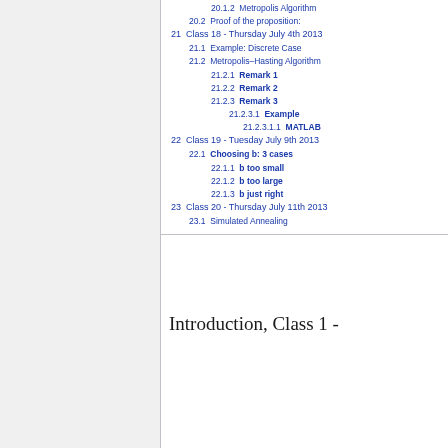20.1.2  Metropolis Algorithm
20.2  Proof of the proposition:
21  Class 18 - Thursday July 4th 2013
21.1  Example: Discrete Case
21.2  Metropolis–Hasting Algorithm
21.2.1  Remark 1
21.2.2  Remark 2
21.2.3  Remark 3
21.2.3.1  Example
21.2.3.1.1  MATLAB
22  Class 19 - Tuesday July 9th 2013
22.1  Choosing b: 3 cases
22.1.1  b too small
22.1.2  b too large
22.1.3  b just right
23  Class 20 - Thursday July 11th 2013
23.1  Simulated Annealing
Introduction, Class 1 -